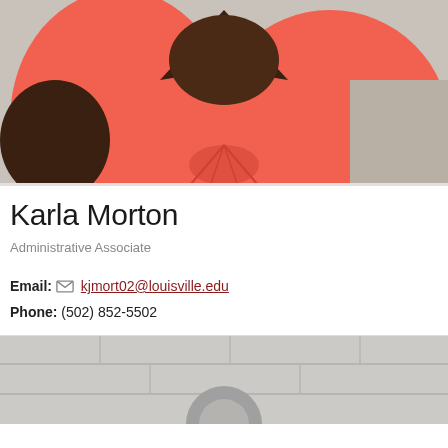[Figure (photo): Close-up photo of a person wearing a coral/salmon-colored wrap dress, torso and upper body visible, seated]
Karla Morton
Administrative Associate
Email: kjmort02@louisville.edu
Phone: (502) 852-5502
[Figure (photo): Partial photo of another person, showing what appears to be a white/light-colored outfit, cropped at bottom of page]